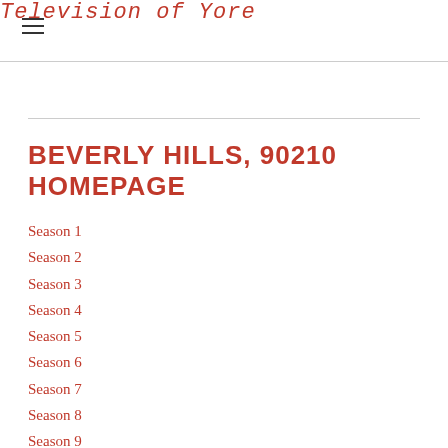Television of Yore
BEVERLY HILLS, 90210 HOMEPAGE
Season 1
Season 2
Season 3
Season 4
Season 5
Season 6
Season 7
Season 8
Season 9
Season 10
BH90210 reboot